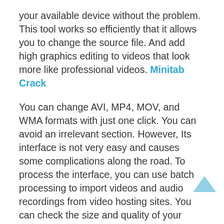your available device without the problem. This tool works so efficiently that it allows you to change the source file. And add high graphics editing to videos that look more like professional videos. Minitab Crack
You can change AVI, MP4, MOV, and WMA formats with just one click. You can avoid an irrelevant section. However, Its interface is not very easy and causes some complications along the road. To process the interface, you can use batch processing to import videos and audio recordings from video hosting sites. You can check the size and quality of your videos and reset them according to your needs. It allows you to create an integrated multimedia player with modified formats for your multimedia files. Moreover, It can make many adjustments to adjust the width, height, size,